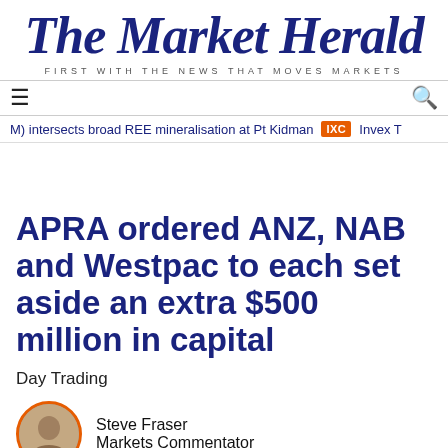The Market Herald
FIRST WITH THE NEWS THAT MOVES MARKETS
≡        🔍
M) intersects broad REE mineralisation at Pt Kidman   IXC   Invex T
APRA ordered ANZ, NAB and Westpac to each set aside an extra $500 million in capital
Day Trading
Steve Fraser
Markets Commentator